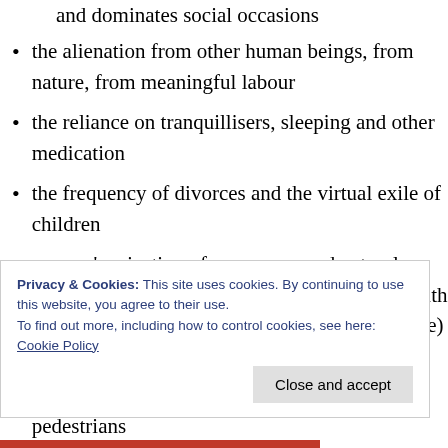and dominates social occasions
the alienation from other human beings, from nature, from meaningful labour
the reliance on tranquillisers, sleeping and other medication
the frequency of divorces and the virtual exile of children
women's rejection of pregnancy and natural childbirth (cast as a negative, although Shulamith Firestone and others would see this as a positive)
juvenile delinquents racing cars around night-time streets, dying in crashes and aiming for pedestrians
Privacy & Cookies: This site uses cookies. By continuing to use this website, you agree to their use.
To find out more, including how to control cookies, see here: Cookie Policy
Close and accept